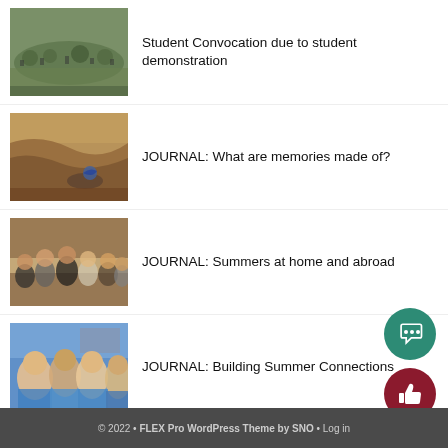[Figure (photo): Protest crowd outdoors under trees]
Student Convocation due to student demonstration
[Figure (photo): Muddy flood water with a figure]
JOURNAL: What are memories made of?
[Figure (photo): Group family photo indoors]
JOURNAL: Summers at home and abroad
[Figure (photo): Selfie of four young women in blue shirts]
JOURNAL: Building Summer Connections
© 2022 • FLEX Pro WordPress Theme by SNO • Log in